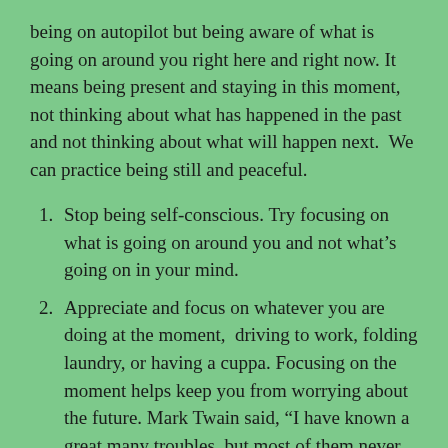being on autopilot but being aware of what is going on around you right here and right now. It means being present and staying in this moment, not thinking about what has happened in the past and not thinking about what will happen next.  We can practice being still and peaceful.
Stop being self-conscious. Try focusing on what is going on around you and not what’s going on in your mind.
Appreciate and focus on whatever you are doing at the moment,  driving to work, folding laundry, or having a cuppa. Focusing on the moment helps keep you from worrying about the future. Mark Twain said, “I have known a great many troubles, but most of them never happened.”